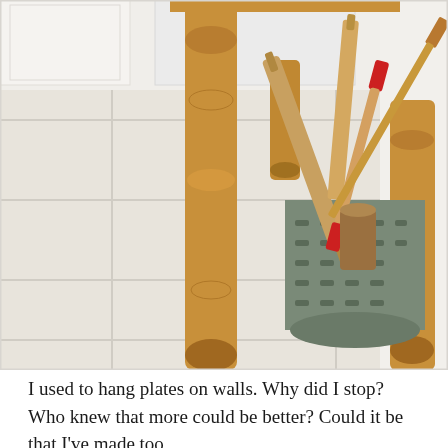[Figure (photo): Photo of the underside of a wooden kitchen table with turned legs, showing a galvanized metal bucket filled with various rolling pins of different sizes and materials (wooden, red-handled), placed on white tile floor in a kitchen with white cabinets visible in the background.]
I used to hang plates on walls. Why did I stop? Who knew that more could be better? Could it be that I've made too